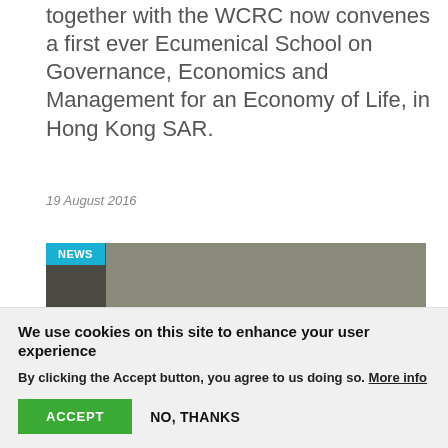together with the WCRC now convenes a first ever Ecumenical School on Governance, Economics and Management for an Economy of Life, in Hong Kong SAR.
19 August 2016
[Figure (photo): Two women wearing EAPPI vests walking away from camera in a crowded street, with other people in the background.]
We use cookies on this site to enhance your user experience
By clicking the Accept button, you agree to us doing so. More info